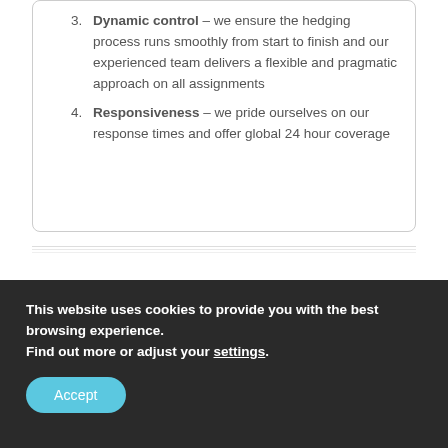Dynamic control – we ensure the hedging process runs smoothly from start to finish and our experienced team delivers a flexible and pragmatic approach on all assignments
Responsiveness – we pride ourselves on our response times and offer global 24 hour coverage
When you need our expertise
This website uses cookies to provide you with the best browsing experience. Find out more or adjust your settings.